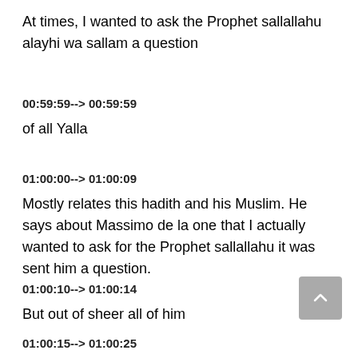At times, I wanted to ask the Prophet sallallahu alayhi wa sallam a question
00:59:59--> 00:59:59
of all Yalla
01:00:00--> 01:00:09
Mostly relates this hadith and his Muslim. He says about Massimo de la one that I actually wanted to ask for the Prophet sallallahu it was sent him a question.
01:00:10--> 01:00:14
But out of sheer all of him
01:00:15--> 01:00:25